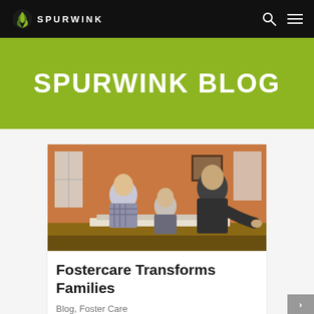SPURWINK
SPURWINK BLOG
[Figure (photo): Two adult men and a child sitting at a table looking at papers/books together in a home setting with orange walls]
Fostercare Transforms Families
Blog, Foster Care